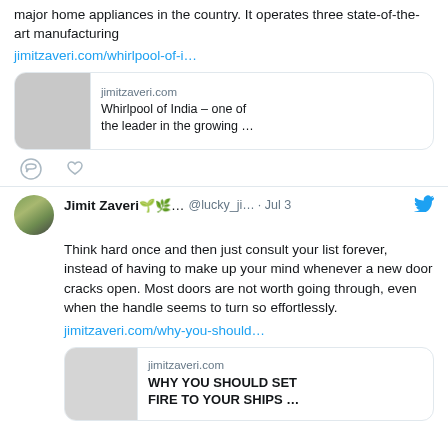major home appliances in the country. It operates three state-of-the-art manufacturing jimitzaveri.com/whirlpool-of-i…
[Figure (screenshot): Link preview card for jimitzaveri.com showing 'Whirlpool of India – one of the leader in the growing …']
[Figure (infographic): Tweet action icons: comment bubble and heart]
Jimit Zaveri 🌱🌿 … @lucky_ji… · Jul 3
Think hard once and then just consult your list forever, instead of having to make up your mind whenever a new door cracks open. Most doors are not worth going through, even when the handle seems to turn so effortlessly. jimitzaveri.com/why-you-should…
[Figure (screenshot): Link preview card for jimitzaveri.com showing 'WHY YOU SHOULD SET FIRE TO YOUR SHIPS …']